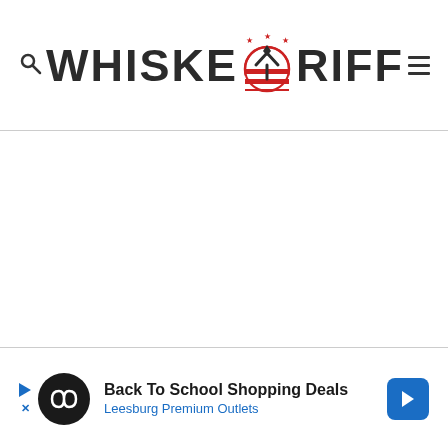WHISKEY RIFF
[Figure (infographic): Advertisement banner: Back To School Shopping Deals - Leesburg Premium Outlets]
Back To School Shopping Deals
Leesburg Premium Outlets